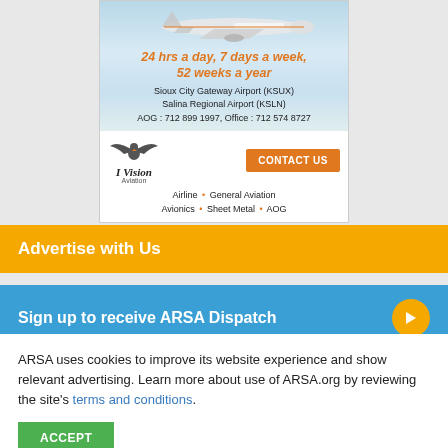[Figure (illustration): Aviation company advertisement banner showing a commercial jet airplane flying against a blue sky background, with orange italic text '24 hrs a day, 7 days a week, 52 weeks a year', airport names 'Sioux City Gateway Airport (KSUX)' and 'Salina Regional Airport (KSLN)', contact numbers 'AOG : 712 899 1997, Office : 712 574 8727', an eagle logo with 'I Vision Aviation', an orange 'CONTACT US' button, and service list 'Airline • General Aviation Avionics • Sheet Metal • AOG']
Advertise with Us
Sign up to receive ARSA Dispatch
ARSA uses cookies to improve its website experience and show relevant advertising. Learn more about use of ARSA.org by reviewing the site's terms and conditions.
ACCEPT